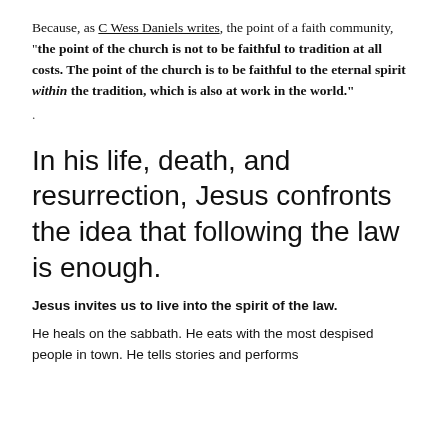Because, as C Wess Daniels writes, the point of a faith community, "the point of the church is not to be faithful to tradition at all costs. The point of the church is to be faithful to the eternal spirit within the tradition, which is also at work in the world."
.
In his life, death, and resurrection, Jesus confronts the idea that following the law is enough.
Jesus invites us to live into the spirit of the law.
He heals on the sabbath. He eats with the most despised people in town. He tells stories and performs